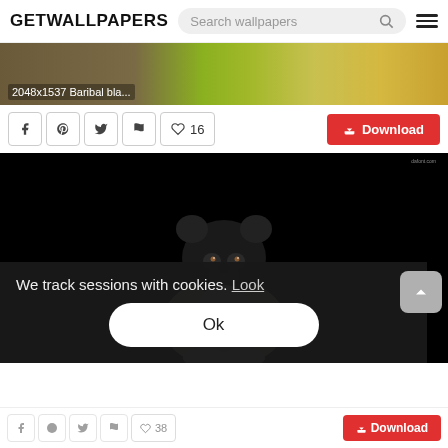GETWALLPAPERS — Search wallpapers
[Figure (photo): Banner photo of Baribal black bear and field with yellow flowers, labeled '2048x1537 Baribal bla...']
2048x1537 Baribal bla...
♡ 16   Download
[Figure (photo): Black background with a black bear in a white/cream outfit or wrap, centered. Cookie consent overlay visible at bottom.]
We track sessions with cookies. Look
Ok
♡ 38   Download